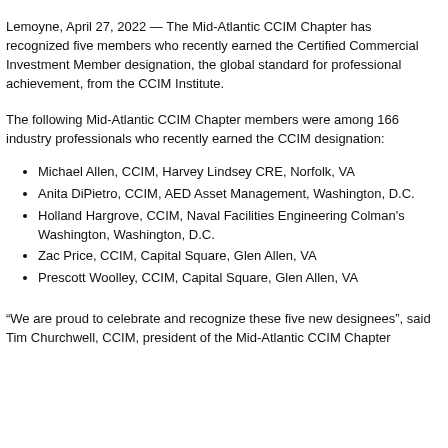Lemoyne, April 27, 2022 — The Mid-Atlantic CCIM Chapter has recognized five members who recently earned the Certified Commercial Investment Member designation, the global standard for professional achievement, from the CCIM Institute.
The following Mid-Atlantic CCIM Chapter members were among 166 industry professionals who recently earned the CCIM designation:
Michael Allen, CCIM, Harvey Lindsey CRE, Norfolk, VA
Anita DiPietro, CCIM, AED Asset Management, Washington, D.C.
Holland Hargrove, CCIM, Naval Facilities Engineering Colman's Washington, Washington, D.C.
Zac Price, CCIM, Capital Square, Glen Allen, VA
Prescott Woolley, CCIM, Capital Square, Glen Allen, VA
“We are proud to celebrate and recognize these five new designees”, said Tim Churchwell, CCIM, president of the Mid-Atlantic CCIM Chapter